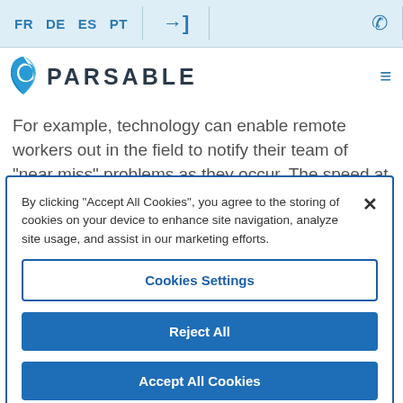FR  DE  ES  PT  →]  ☎
[Figure (logo): Parsable logo with blue leaf icon and PARSABLE wordmark]
For example, technology can enable remote workers out in the field to notify their team of "near miss" problems as they occur. The speed at which workers
By clicking "Accept All Cookies", you agree to the storing of cookies on your device to enhance site navigation, analyze site usage, and assist in our marketing efforts.
Cookies Settings
Reject All
Accept All Cookies